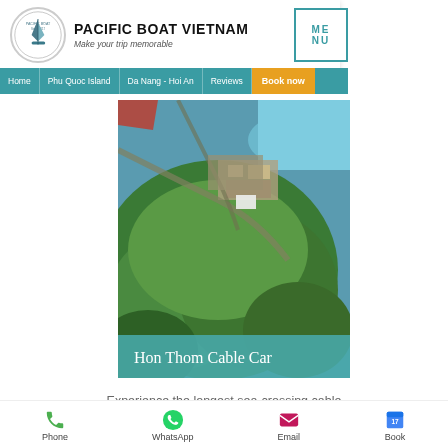[Figure (logo): Pacific Boat Vietnam circular logo with sailboat]
PACIFIC BOAT VIETNAM
Make your trip memorable
ME NU
Home | Phu Quoc Island | Da Nang - Hoi An | Reviews | Book now
[Figure (photo): Aerial view of Hon Thom island with coastline, buildings, and dense forest]
Hon Thom Cable Car
Experience the longest sea-crossing cable car of the world
Phone  WhatsApp  Email  Book